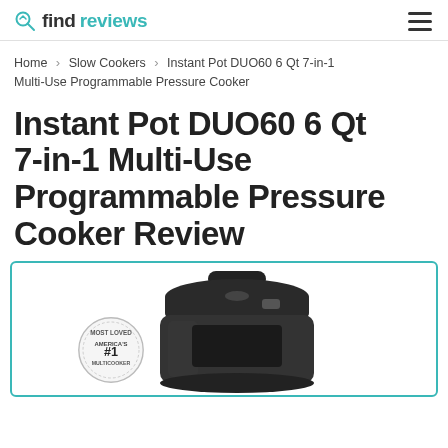findreviews
Home > Slow Cookers > Instant Pot DUO60 6 Qt 7-in-1 Multi-Use Programmable Pressure Cooker
Instant Pot DUO60 6 Qt 7-in-1 Multi-Use Programmable Pressure Cooker Review
[Figure (photo): Instant Pot DUO60 6 Qt pressure cooker with 'Most Loved America's #1 Multicooker' badge on the left and the black instant pot appliance on the right, inside a teal-bordered box.]